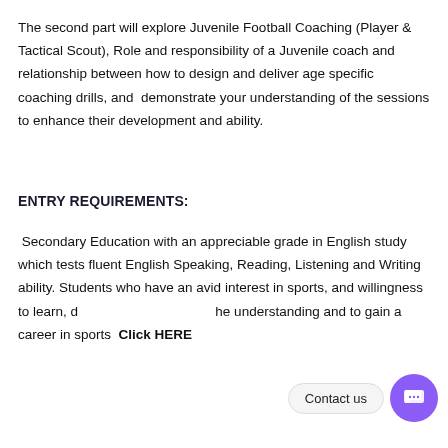The second part will explore Juvenile Football Coaching (Player & Tactical Scout), Role and responsibility of a Juvenile coach and relationship between how to design and deliver age specific coaching drills, and demonstrate your understanding of the sessions to enhance their development and ability.
ENTRY REQUIREMENTS:
Secondary Education with an appreciable grade in English study which tests fluent English Speaking, Reading, Listening and Writing ability. Students who have an avid interest in sports, and willingness to learn, develop their understanding and to gain a career in sports